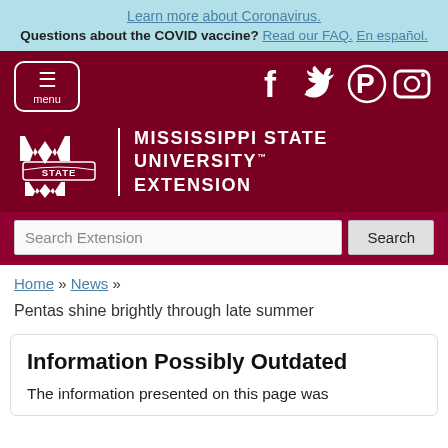Learn more about Coronavirus. Questions about the COVID vaccine? Read our FAQ. En español.
[Figure (logo): Mississippi State University Extension logo with MSU wordmark and social media icons (Facebook, Twitter, Pinterest, Instagram) and hamburger menu button]
Search Extension [Search]
Home » News »
Pentas shine brightly through late summer
Information Possibly Outdated
The information presented on this page was